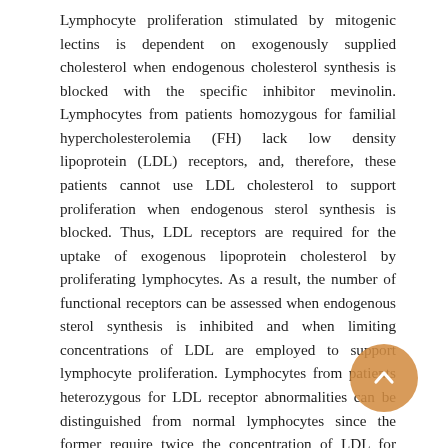Lymphocyte proliferation stimulated by mitogenic lectins is dependent on exogenously supplied cholesterol when endogenous cholesterol synthesis is blocked with the specific inhibitor mevinolin. Lymphocytes from patients homozygous for familial hypercholesterolemia (FH) lack low density lipoprotein (LDL) receptors, and, therefore, these patients cannot use LDL cholesterol to support proliferation when endogenous sterol synthesis is blocked. Thus, LDL receptors are required for the uptake of exogenous lipoprotein cholesterol by proliferating lymphocytes. As a result, the number of functional receptors can be assessed when endogenous sterol synthesis is inhibited and when limiting concentrations of LDL are employed to support lymphocyte proliferation. Lymphocytes from patients heterozygous for LDL receptor abnormalities can be distinguished from normal lymphocytes since the former require twice the concentration of LDL for proliferation. By contrast, in hyperlipidemia not caused by FH, lymphocyte LDL receptor activity is normal, indicating that plasma cholesterol levels do not account for abnormalities in LDL receptor function assayed in this way. Therapy with cholesterol-lowering drugs, however, can alter lymphocyte LDL receptor activity in patients with heterozygous FH. Patients with heterozygous FH respond to therapy with mevinolin and a bile-acid-binding resin by lowering
[Figure (other): Orange circular scroll-back / navigation button with upward chevron arrow, overlaid on lower-right area of the text.]